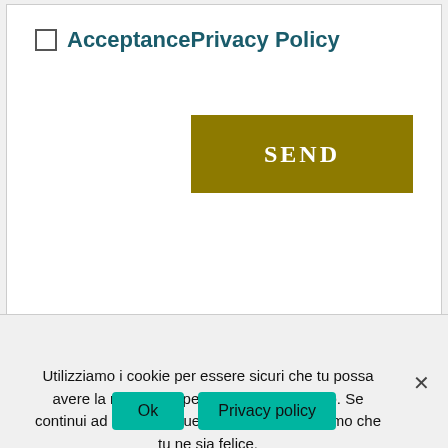AcceptancePrivacy Policy
SEND
Utilizziamo i cookie per essere sicuri che tu possa avere la migliore esperienza sul nostro sito. Se continui ad utilizzare questo sito noi assumiamo che tu ne sia felice.
Ok
Privacy policy